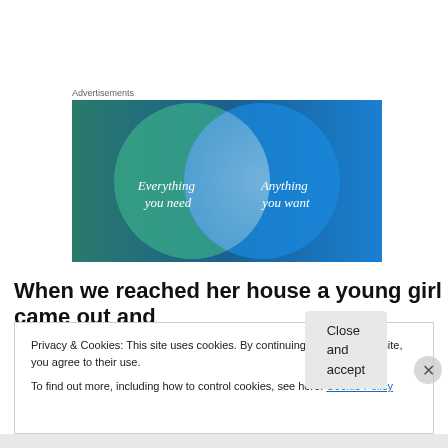Advertisements
[Figure (infographic): Venn diagram advertisement showing two overlapping circles on a teal/blue gradient background. Left circle (green-teal) contains text 'Everything you need'. Right circle (blue) contains text 'Anything you want'. The overlapping area is light blue-gray.]
When we reached her house a young girl came out and
Privacy & Cookies: This site uses cookies. By continuing to use this website, you agree to their use.
To find out more, including how to control cookies, see here: Cookie Policy
Close and accept